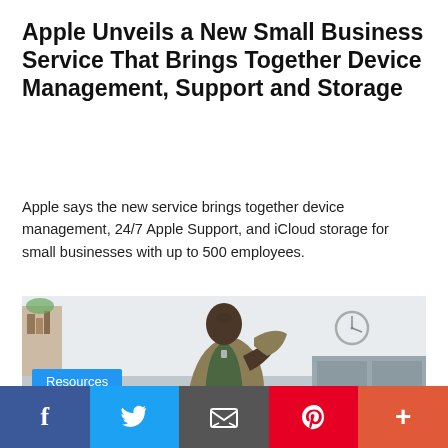Apple Unveils a New Small Business Service That Brings Together Device Management, Support and Storage
Apple says the new service brings together device management, 24/7 Apple Support, and iCloud storage for small businesses with up to 500 employees.
[Figure (photo): A man wearing a green t-shirt holding a military jacket over his shoulder, in a home office setting, with a Resources label overlay at bottom left.]
Resources
Social sharing bar: Facebook, Twitter, Email, Pinterest, More